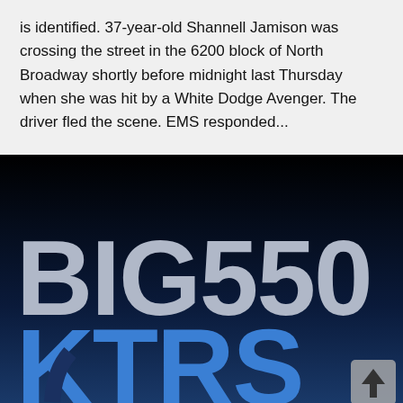is identified. 37-year-old Shannell Jamison was crossing the street in the 6200 block of North Broadway shortly before midnight last Thursday when she was hit by a White Dodge Avenger. The driver fled the scene. EMS responded...
[Figure (logo): BIG 550 KTRS radio station logo on a dark navy/black gradient background. Large bold gray text reads 'BIG550' and below it large blue bold text reads 'KTRS' (partially visible). A scroll-to-top arrow button appears in the bottom right corner.]